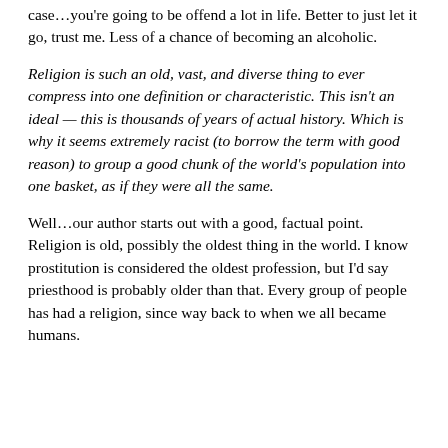case…you're going to be offend a lot in life. Better to just let it go, trust me. Less of a chance of becoming an alcoholic.
Religion is such an old, vast, and diverse thing to ever compress into one definition or characteristic. This isn't an ideal — this is thousands of years of actual history. Which is why it seems extremely racist (to borrow the term with good reason) to group a good chunk of the world's population into one basket, as if they were all the same.
Well…our author starts out with a good, factual point. Religion is old, possibly the oldest thing in the world. I know prostitution is considered the oldest profession, but I'd say priesthood is probably older than that. Every group of people has had a religion, since way back to when we all became humans.